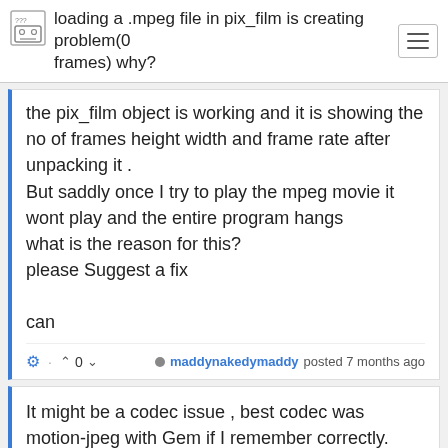loading a .mpeg file in pix_film is creating problem(0 frames) why?
the pix_film object is working and it is showing the no of frames height width and frame rate after unpacking it .
But saddly once I try to play the mpeg movie it wont play and the entire program hangs
what is the reason for this?
please Suggest a fix

can
maddynakedymaddy posted 7 months ago
It might be a codec issue , best codec was motion-jpeg with Gem if I remember correctly. Also using 1920x1080HD movie was only working with ofelia and not Gem for me.